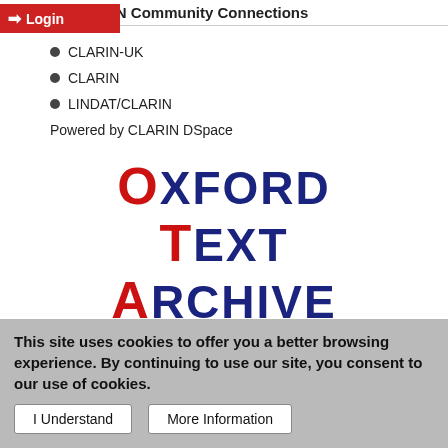CLARIN Community Connections
CLARIN-UK
CLARIN
LINDAT/CLARIN
Powered by CLARIN DSpace
[Figure (logo): Oxford Text Archive logo — large stylized text reading OXFORD TEXT ARCHIVE with first letters in red and remaining letters in dark navy blue]
This site uses cookies to offer you a better browsing experience. By continuing to use our site, you consent to our use of cookies.